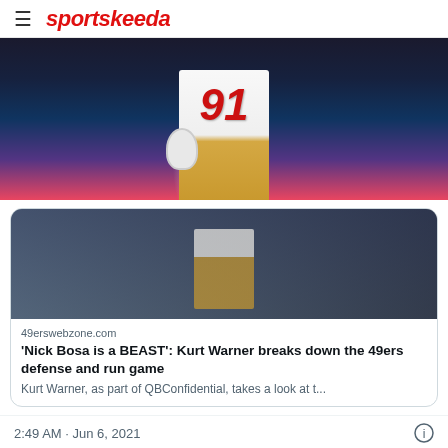sportskeeda
[Figure (photo): Football player wearing jersey number 97 in white and gold uniform during a game]
49erswebzone.com
'Nick Bosa is a BEAST': Kurt Warner breaks down the 49ers defense and run game
Kurt Warner, as part of QBConfidential, takes a look at t...
2:49 AM · Jun 6, 2021
202  Reply  Copy link
Explore what's happening on Twitter
[Figure (photo): Firestone advertisement - Get An Oil Change Near You - Learn More button]